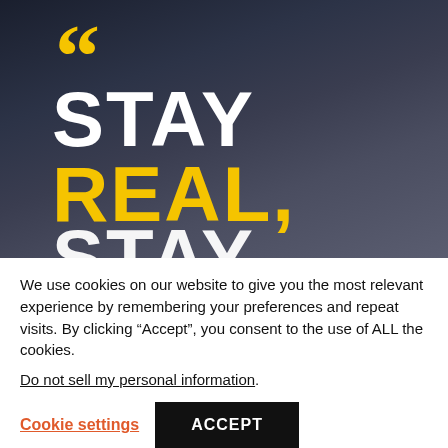[Figure (illustration): Dark stormy sky background with large quotation marks in yellow and bold text reading 'STAY REAL, STAY' — 'STAY' in white, 'REAL,' in yellow, second 'STAY' in white, partially cropped at bottom]
We use cookies on our website to give you the most relevant experience by remembering your preferences and repeat visits. By clicking “Accept”, you consent to the use of ALL the cookies.
Do not sell my personal information.
Cookie settings
ACCEPT